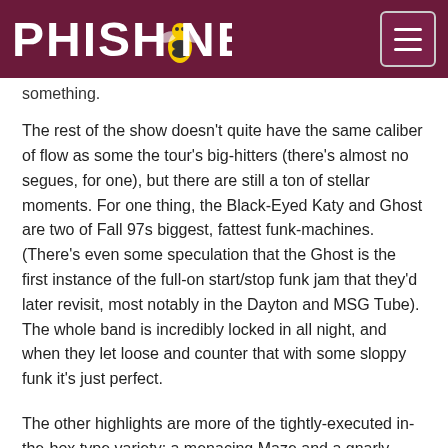Phish.net
something.
The rest of the show doesn't quite have the same caliber of flow as some the tour's big-hitters (there's almost no segues, for one), but there are still a ton of stellar moments. For one thing, the Black-Eyed Katy and Ghost are two of Fall 97s biggest, fattest funk-machines. (There's even some speculation that the Ghost is the first instance of the full-on start/stop funk jam that they'd later revisit, most notably in the Dayton and MSG Tube). The whole band is incredibly locked in all night, and when they let loose and counter that with some sloppy funk it's just perfect.
The other highlights are more of the tightly-executed in-the-box type variety: a menacing Maze and a gnarly Theme from the Bottom in the first set have their second set foils in Timber and Limb by Limb, respectively. The Timber in particular is a beautiful